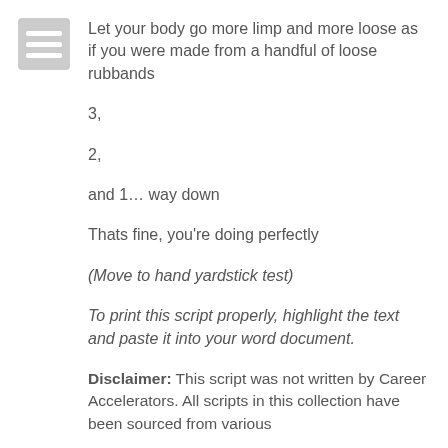[Figure (illustration): Page/document icon — grey rectangle with three white horizontal lines]
Let your body go more limp and more loose as if you were made from a handful of loose rubberbands
3,
2,
and 1… way down
Thats fine, you're doing perfectly
(Move to hand yardstick test)
To print this script properly, highlight the text and paste it into your word document.
Disclaimer: This script was not written by Career Accelerators. All scripts in this collection have been sourced from various